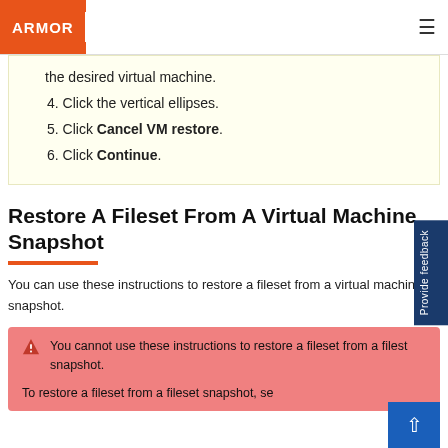ARMOR
the desired virtual machine.
4. Click the vertical ellipses.
5. Click Cancel VM restore.
6. Click Continue.
Restore A Fileset From A Virtual Machine Snapshot
You can use these instructions to restore a fileset from a virtual machine snapshot.
You cannot use these instructions to restore a fileset from a filest snapshot.

To restore a fileset from a fileset snapshot, se